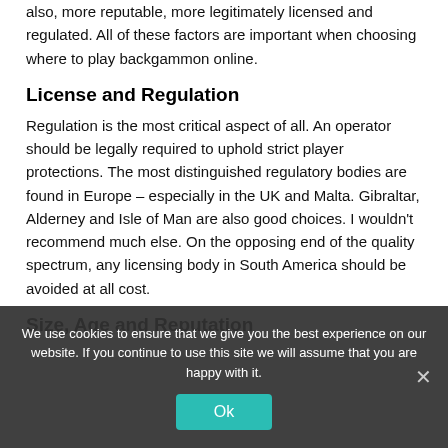also, more reputable, more legitimately licensed and regulated. All of these factors are important when choosing where to play backgammon online.
License and Regulation
Regulation is the most critical aspect of all. An operator should be legally required to uphold strict player protections. The most distinguished regulatory bodies are found in Europe – especially in the UK and Malta. Gibraltar, Alderney and Isle of Man are also good choices. I wouldn't recommend much else. On the opposing end of the quality spectrum, any licensing body in South America should be avoided at all cost.
Size, Age and Reputation
We use cookies to ensure that we give you the best experience on our website. If you continue to use this site we will assume that you are happy with it.